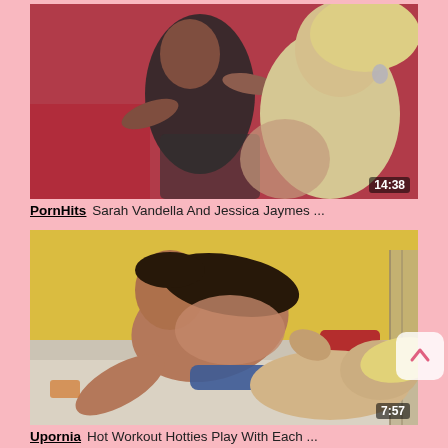[Figure (photo): Video thumbnail showing two women on a red couch, with a duration overlay reading 14:38]
PornHits  Sarah Vandella And Jessica Jaymes ...
[Figure (photo): Video thumbnail showing two women on a white couch with yellow background, with a duration overlay reading 7:57]
Upornia  Hot Workout Hotties Play With Each ...